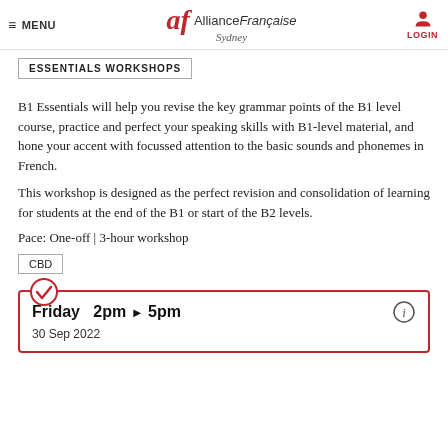MENU | Alliance Française Sydney | LOGIN
ESSENTIALS WORKSHOPS
B1 Essentials will help you revise the key grammar points of the B1 level course, practice and perfect your speaking skills with B1-level material, and hone your accent with focussed attention to the basic sounds and phonemes in French.
This workshop is designed as the perfect revision and consolidation of learning for students at the end of the B1 or start of the B2 levels.
Pace: One-off | 3-hour workshop
CBD
Friday  2pm ▶ 5pm
30 Sep 2022